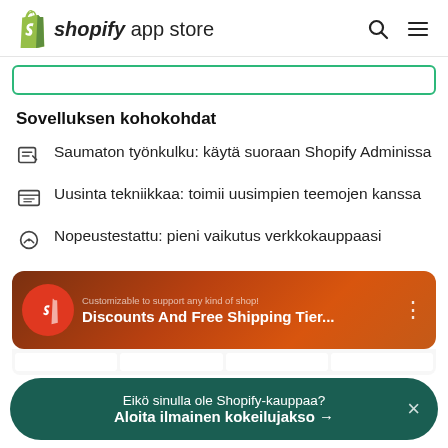shopify app store
Sovelluksen kohokohdat
Saumaton työnkulku: käytä suoraan Shopify Adminissa
Uusinta tekniikkaa: toimii uusimpien teemojen kanssa
Nopeustestattu: pieni vaikutus verkkokauppaasi
[Figure (screenshot): Shopify app store screenshot showing 'Discounts And Free Shipping Tier...' app listing with orange/red gradient background and app icon]
Eikö sinulla ole Shopify-kauppaa? Aloita ilmainen kokeilujakso →